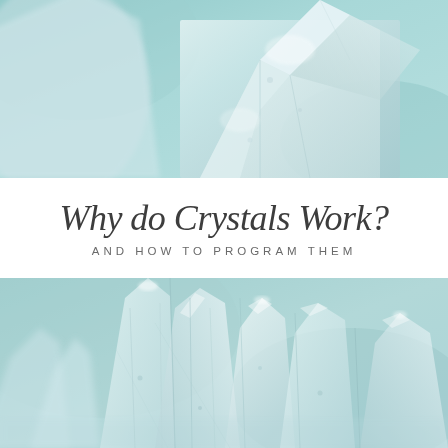[Figure (photo): Close-up macro photograph of a clear/white crystal or quartz point against a soft teal/mint blue background, showing faceted translucent surfaces]
Why do Crystals Work?
AND HOW TO PROGRAM THEM
[Figure (photo): Close-up macro photograph of multiple clear quartz crystal points clustered together against a soft teal/mint blue background, showing elongated faceted prisms]